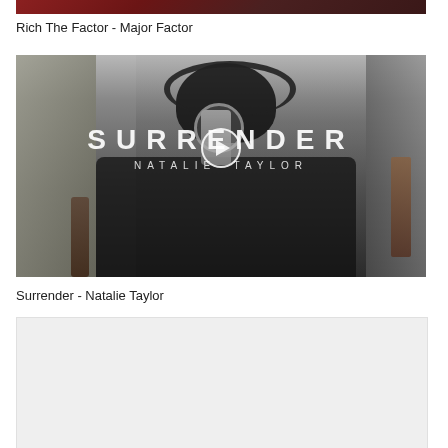[Figure (screenshot): Video thumbnail for Rich The Factor - Major Factor, dark reddish background]
Rich The Factor - Major Factor
[Figure (screenshot): Video thumbnail showing Natalie Taylor singing into a microphone with headphones, wearing a black leather jacket. Text overlay reads SURRENDER and NATALIE TAYLOR with a play button in the center.]
Surrender - Natalie Taylor
[Figure (screenshot): Light gray/white empty video thumbnail placeholder at the bottom]